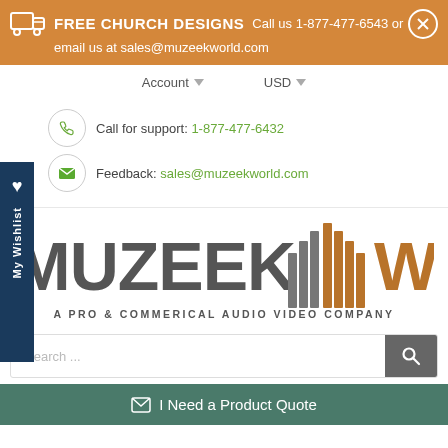FREE CHURCH DESIGNS  Call us 1-877-477-6543 or email us at sales@muzeekworld.com
Account   USD
Call for support: 1-877-477-6432
Feedback: sales@muzeekworld.com
[Figure (logo): Muzeek World logo - A Pro & Commerical Audio Video Company]
Search ...
I Need a Product Quote